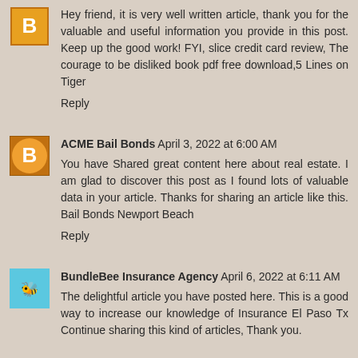Hey friend, it is very well written article, thank you for the valuable and useful information you provide in this post. Keep up the good work! FYI, slice credit card review, The courage to be disliked book pdf free download,5 Lines on Tiger
Reply
ACME Bail Bonds April 3, 2022 at 6:00 AM
You have Shared great content here about real estate. I am glad to discover this post as I found lots of valuable data in your article. Thanks for sharing an article like this. Bail Bonds Newport Beach
Reply
BundleBee Insurance Agency April 6, 2022 at 6:11 AM
The delightful article you have posted here. This is a good way to increase our knowledge of Insurance El Paso Tx Continue sharing this kind of articles, Thank you.